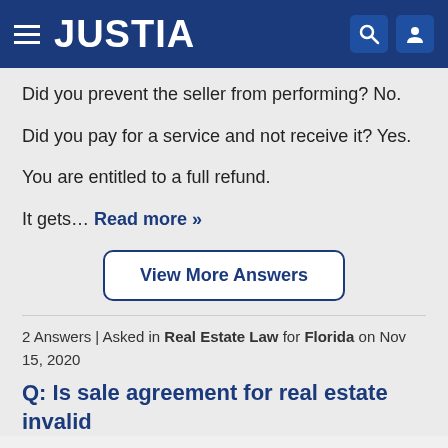JUSTIA
Did you prevent the seller from performing? No.
Did you pay for a service and not receive it? Yes.
You are entitled to a full refund.
It gets… Read more »
View More Answers
2 Answers | Asked in Real Estate Law for Florida on Nov 15, 2020
Q: Is sale agreement for real estate invalid